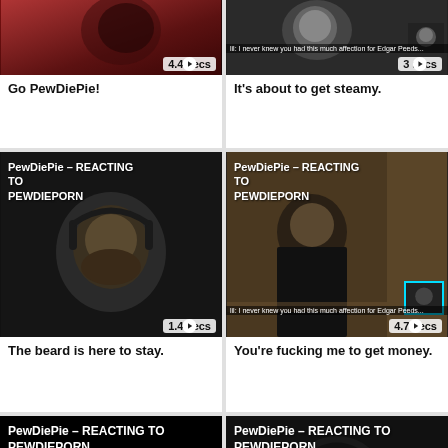[Figure (screenshot): Video thumbnail with red/dark tones, person visible, duration badge showing 4.4 secs]
Go PewDiePie!
[Figure (screenshot): Video thumbnail showing person smiling, with picture-in-picture overlay, duration badge showing 3 secs, subtitle bar visible]
It's about to get steamy.
[Figure (screenshot): PewDiePie REACTING TO PEWDIEPORN video thumbnail, bearded man with headphones, dark background, duration 1.4 secs]
The beard is here to stay.
[Figure (screenshot): PewDiePie REACTING TO PEWDIEPORN video thumbnail, man at table, picture-in-picture overlay with cyan border, subtitle bar, duration 4.7 secs]
You're fucking me to get money.
[Figure (screenshot): PewDiePie REACTING TO PEWDIEPORN video thumbnail, mostly black with title overlay, duration 3.6 secs]
[Figure (screenshot): PewDiePie REACTING TO PEWDIEPORN video thumbnail, dark hooded figure visible, duration 1.1 secs]